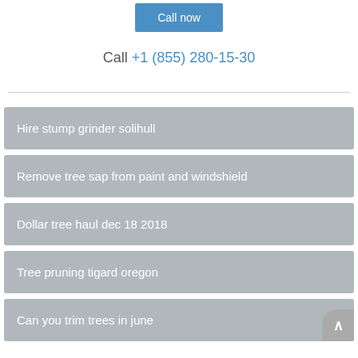Call now
Call +1 (855) 280-15-30
Hire stump grinder solihull
Remove tree sap from paint and windshield
Dollar tree haul dec 18 2018
Tree pruning tigard oregon
Can you trim trees in june